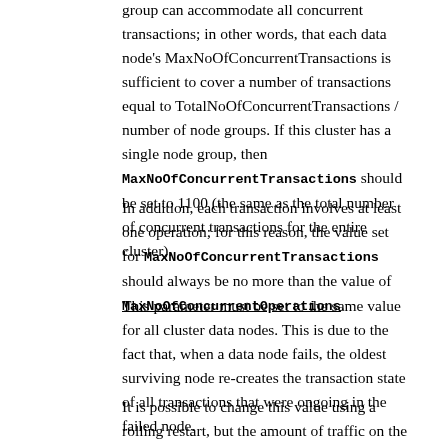group can accommodate all concurrent transactions; in other words, that each data node's MaxNoOfConcurrentTransactions is sufficient to cover a number of transactions equal to TotalNoOfConcurrentTransactions / number of node groups. If this cluster has a single node group, then MaxNoOfConcurrentTransactions should be set to 1100 (the same as the total number of concurrent transactions for the entire cluster).
In addition, each transaction involves at least one operation; for this reason, the value set for MaxNoOfConcurrentTransactions should always be no more than the value of MaxNoOfConcurrentOperations.
This parameter must be set to the same value for all cluster data nodes. This is due to the fact that, when a data node fails, the oldest surviving node re-creates the transaction state of all transactions that were ongoing in the failed node.
It is possible to change this value using a rolling restart, but the amount of traffic on the cluster must be such that no more transactions occur than the lower of the old and new levels.